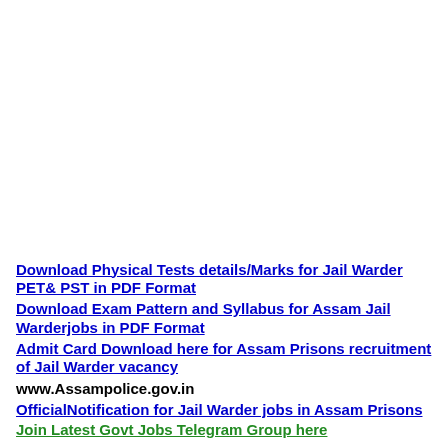Download Physical Tests details/Marks for Jail Warder PET& PST in PDF Format
Download Exam Pattern and Syllabus for Assam Jail Warderjobs in PDF Format
Admit Card Download here for Assam Prisons recruitment of Jail Warder vacancy
www.Assampolice.gov.in
OfficialNotification for Jail Warder jobs in Assam Prisons
Join Latest Govt Jobs Telegram Group here